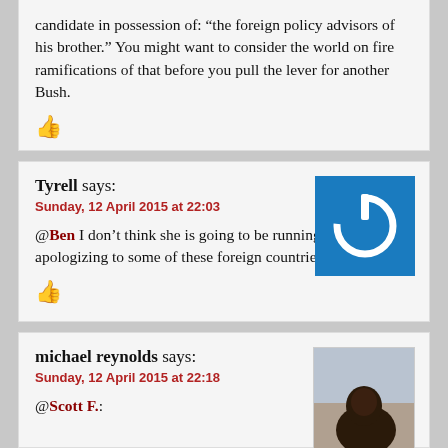candidate in possession of: “the foreign policy advisors of his brother.” You might want to consider the world on fire ramifications of that before you pull the lever for another Bush.
[Figure (other): Thumbs up icon in dark red]
Tyrell says:
Sunday, 12 April 2015 at 22:03
[Figure (other): Blue square avatar with white power button icon]
@Ben I don’t think she is going to be running around apologizing to some of these foreign countries.
[Figure (other): Thumbs up icon in dark red]
michael reynolds says:
Sunday, 12 April 2015 at 22:18
[Figure (photo): Small profile photo of a person]
@Scott F.: